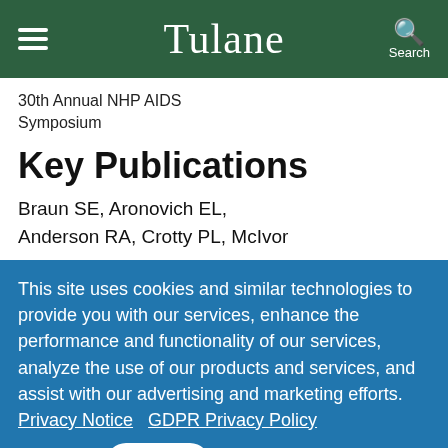Tulane
30th Annual NHP AIDS Symposium
Key Publications
Braun SE, Aronovich EL, Anderson RA, Crotty PL, McIvor
This site uses cookies and similar technologies to provide you with our services, enhance the performance and functionality of our services, analyze the use of our products and services, and assist with our advertising and marketing efforts.  Privacy Notice  GDPR Privacy Policy
ACCEPT  Decline